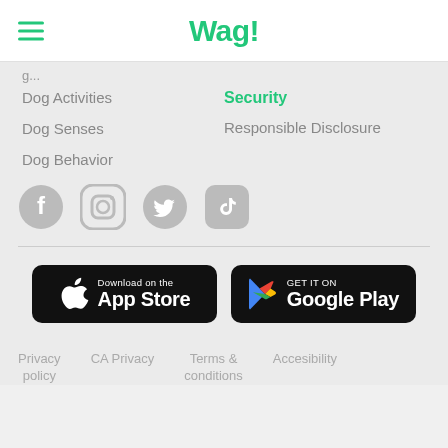Wag!
Dog Activities
Dog Senses
Dog Behavior
Security
Responsible Disclosure
[Figure (illustration): Social media icons: Facebook, Instagram, Twitter, TikTok]
[Figure (illustration): Download on the App Store button (black)]
[Figure (illustration): Get it on Google Play button (black)]
Privacy policy   CA Privacy   Terms & conditions   Accesibility